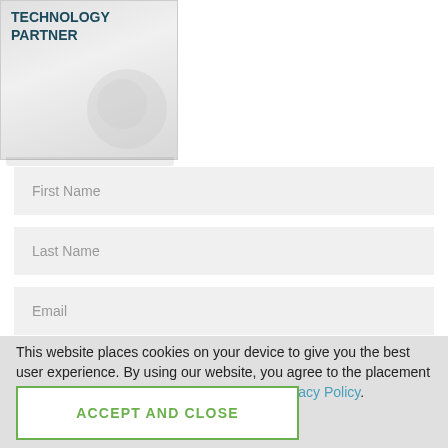[Figure (illustration): Partially visible card/brochure with bold dark teal uppercase text reading TECHNOLOGY PARTNER on a light gray background]
First Name
Last Name
Email
This website places cookies on your device to give you the best user experience. By using our website, you agree to the placement of these cookies. To learn more, read our Privacy Policy.
ACCEPT AND CLOSE